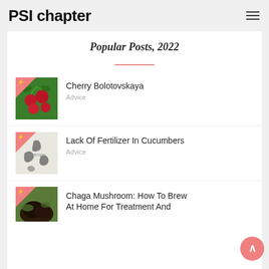PSI chapter
Popular Posts, 2022
[Figure (photo): Cherry Bolotovskaya - red cherries on a tree with green leaves, pink triangle overlay with lightning icon in top-left corner]
Cherry Bolotovskaya
Advice
[Figure (photo): Lack Of Fertilizer In Cucumbers - illustration of cucumber pests/parasites on white background, pink triangle overlay with lightning icon]
Lack Of Fertilizer In Cucumbers
Advice
[Figure (photo): Chaga Mushroom: How To Brew At Home For Treatment And... - photo of chaga mushroom on wood, pink triangle overlay with lightning icon]
Chaga Mushroom: How To Brew At Home For Treatment And